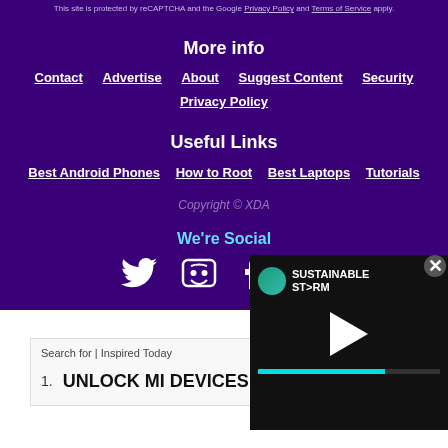This site is protected by reCAPTCHA and the Google Privacy Policy and Terms of Service apply.
More info
Contact   Advertise   About   Suggest Content   Security
Privacy Policy
Useful Links
Best Android Phones   How to Root   Best Laptops   Tutorials
Copyright © XDA
We're Social
[Figure (screenshot): Social media icons: Twitter, Discord, Facebook, Instagram (partially visible), and more icons partially visible]
[Figure (screenshot): Video overlay showing Sustainable Stream logo with play button and teal progress bar]
Search for | Inspired Today
1. UNLOCK MI DEVICES